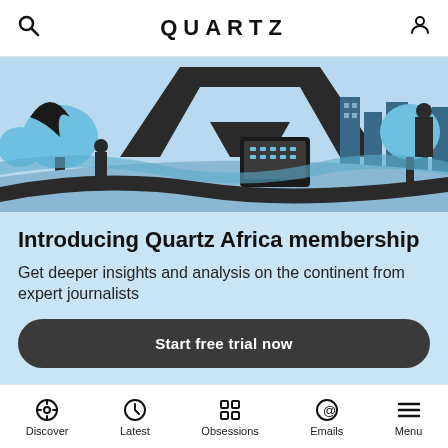QUARTZ
[Figure (illustration): Illustrated banner graphic showing African cityscape with stylized blue and black figures, trees, buildings, and technology motifs]
Introducing Quartz Africa membership
Get deeper insights and analysis on the continent from expert journalists
Start free trial now
HACKED
Discover | Latest | Obsessions | Emails | Menu